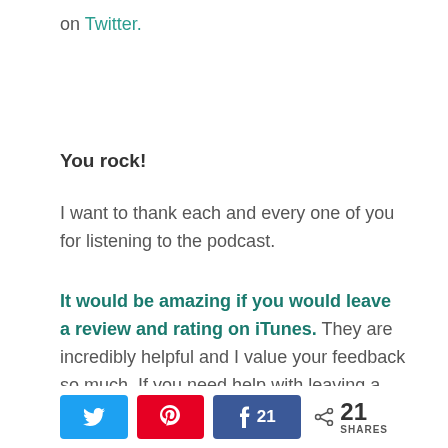on Twitter.
You rock!
I want to thank each and every one of you for listening to the podcast.
It would be amazing if you would leave a review and rating on iTunes. They are incredibly helpful and I value your feedback so much. If you need help with leaving a review, here is a step-by-step
[Figure (infographic): Social share bar with Twitter button (blue), Pinterest button (red), Facebook button (blue) showing count 21, and a share icon with total 21 SHARES]